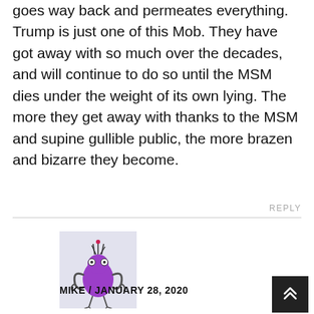goes way back and permeates everything. Trump is just one of this Mob. They have got away with so much over the decades, and will continue to do so until the MSM dies under the weight of its own lying. The more they get away with thanks to the MSM and supine gullible public, the more brazen and bizarre they become.
REPLY
[Figure (illustration): Avatar image of a cartoon purple alien-like creature with wild hair, bulgy eyes, and tentacle-like arms, on a light grey background.]
MIKE / JANUARY 28, 2020